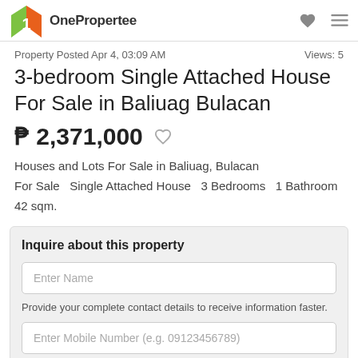OnePropertee
Property Posted Apr 4, 03:09 AM   Views: 5
3-bedroom Single Attached House For Sale in Baliuag Bulacan
₱ 2,371,000
Houses and Lots For Sale in Baliuag, Bulacan
For Sale  Single Attached House  3 Bedrooms  1 Bathroom  42 sqm.
Inquire about this property
Enter Name
Provide your complete contact details to receive information faster.
Enter Mobile Number (e.g. 09123456789)